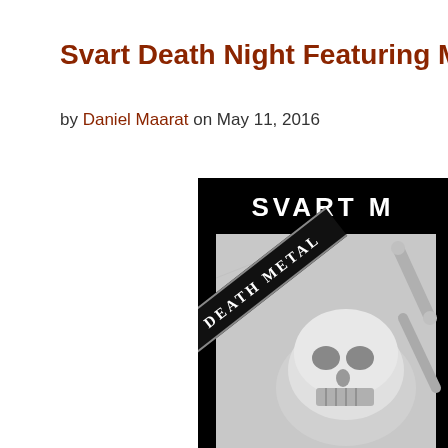Svart Death Night Featuring M
by Daniel Maarat on May 11, 2016
[Figure (photo): Svart Metal event poster in black and white showing a skull and bones with a diagonal banner reading 'DEATH METAL' in gothic lettering. Top text reads 'SVART M' in large white letters on black background.]